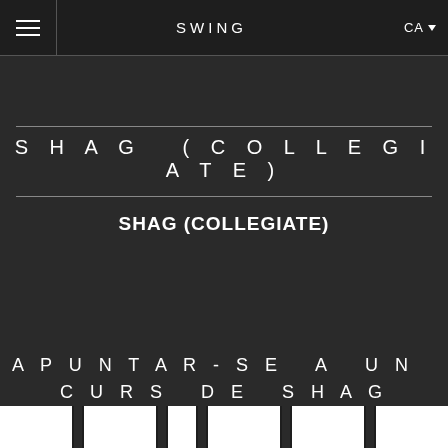SWING  CA
SHAG (COLLEGIATE)
SHAG (COLLEGIATE)
APUNTAR-SE A UN CURS DE SHAG (COLLEGIATE)